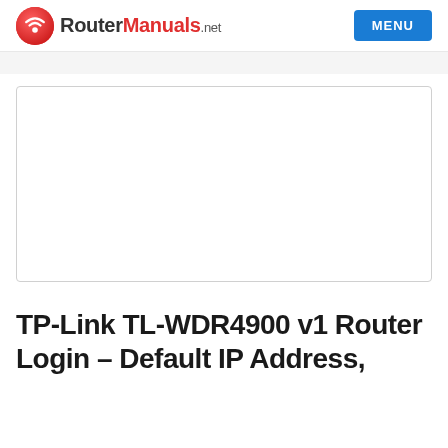RouterManuals.net | MENU
[Figure (other): Advertisement placeholder box, white background with border]
TP-Link TL-WDR4900 v1 Router Login – Default IP Address,